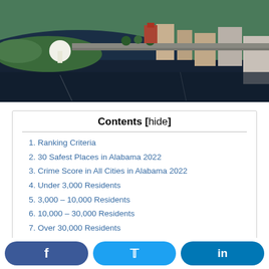[Figure (photo): Aerial photograph of an Alabama city waterfront showing a river, buildings, a park, and urban infrastructure from above.]
Contents [hide]
1. Ranking Criteria
2. 30 Safest Places in Alabama 2022
3. Crime Score in All Cities in Alabama 2022
4. Under 3,000 Residents
5. 3,000 – 10,000 Residents
6. 10,000 – 30,000 Residents
7. Over 30,000 Residents
Sweet Home, Alabama!